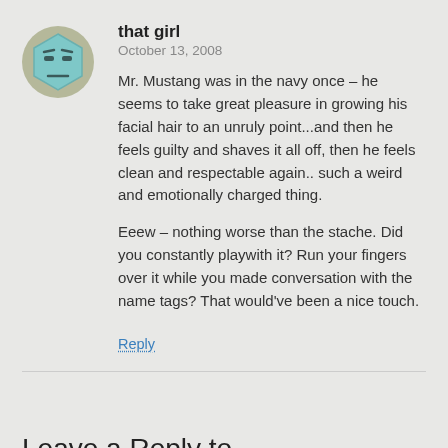[Figure (illustration): Cartoon hexagonal avatar with a teal/mint colored face and simple features]
that girl
October 13, 2008
Mr. Mustang was in the navy once – he seems to take great pleasure in growing his facial hair to an unruly point...and then he feels guilty and shaves it all off, then he feels clean and respectable again.. such a weird and emotionally charged thing.

Eeew – nothing worse than the stache. Did you constantly playwith it? Run your fingers over it while you made conversation with the name tags? That would've been a nice touch.
Reply
Leave a Reply to avatgardener Cancel reply
Your email address will not be published. Required